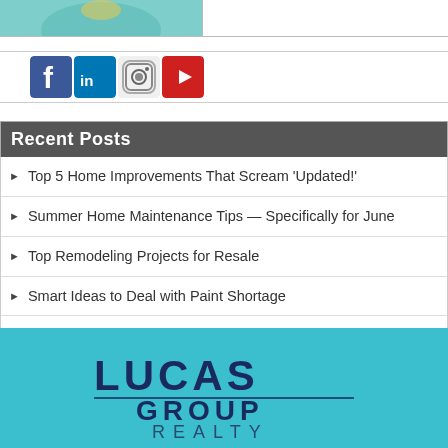[Figure (photo): Partial photo of person wearing teal/mint top, cropped at top of page]
[Figure (infographic): Social media icons: Facebook, LinkedIn, Instagram, YouTube]
Recent Posts
Top 5 Home Improvements That Scream 'Updated!'
Summer Home Maintenance Tips — Specifically for June
Top Remodeling Projects for Resale
Smart Ideas to Deal with Paint Shortage
Top 4 Smart Home Devices
[Figure (logo): Lucas Group Realty logo on teal/cyan background]